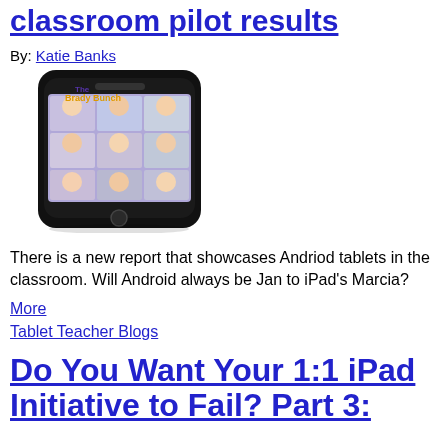classroom pilot results
By: Katie Banks
[Figure (photo): A smartphone displaying a Brady Bunch style grid of cartoon faces on its screen, shown against a white background.]
There is a new report that showcases Andriod tablets in the classroom. Will Android always be Jan to iPad's Marcia?
More
Tablet Teacher Blogs
Do You Want Your 1:1 iPad Initiative to Fail?  Part 3: